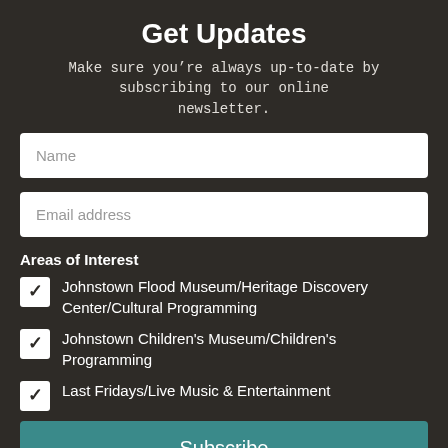Get Updates
Make sure you’re always up-to-date by subscribing to our online newsletter.
Name
Email address
Areas of Interest
Johnstown Flood Museum/Heritage Discovery Center/Cultural Programming
Johnstown Children's Museum/Children's Programming
Last Fridays/Live Music & Entertainment
Subscribe